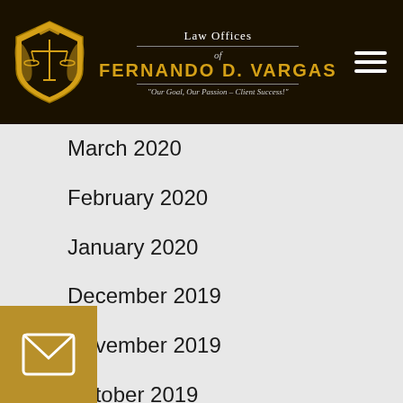Law Offices of FERNANDO D. VARGAS "Our Goal, Our Passion – Client Success!"
March 2020
February 2020
January 2020
December 2019
November 2019
October 2019
September 2019
August 2019
2019